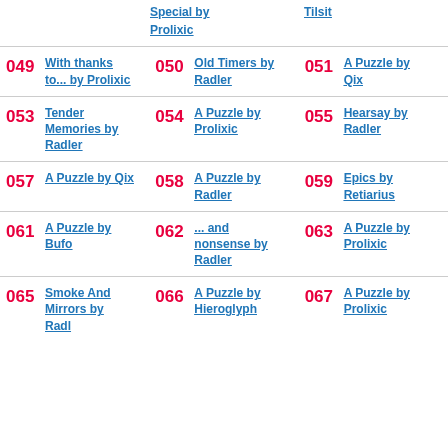Special by Prolixic
Tilsit
049 With thanks to... by Prolixic
050 Old Timers by Radler
051 A Puzzle by Qix
053 Tender Memories by Radler
054 A Puzzle by Prolixic
055 Hearsay by Radler
057 A Puzzle by Qix
058 A Puzzle by Radler
059 Epics by Retiarius
061 A Puzzle by Bufo
062 ... and nonsense by Radler
063 A Puzzle by Prolixic
065 Smoke And Mirrors by Radler
066 A Puzzle by Hieroglyph
067 A Puzzle by Prolixic